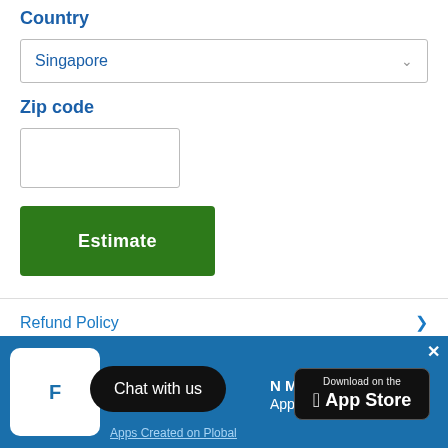Country
Singapore
Zip code
Estimate
Refund Policy
Chat with us
N Marine App!
Apps Created on Plobal
[Figure (screenshot): App Store download badge]